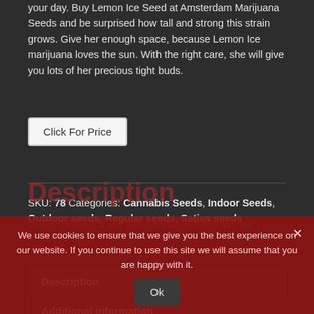your day. Buy Lemon Ice Seed at Amsterdam Marijuana Seeds and be surprised how tall and strong this strain grows. Give her enough space, because Lemon Ice marijuana loves the sun. With the right care, she will give you lots of her precious tight buds.
Click For Price
SKU: 78 Categories: Cannabis Seeds, Indoor Seeds, Outdoor seeds, Regular seeds, Sativa seeds
Description
Additional information
We use cookies to ensure that we give you the best experience on our website. If you continue to use this site we will assume that you are happy with it.
Description
Lemon Ice weed: a true Sativa dominant hybrid that will